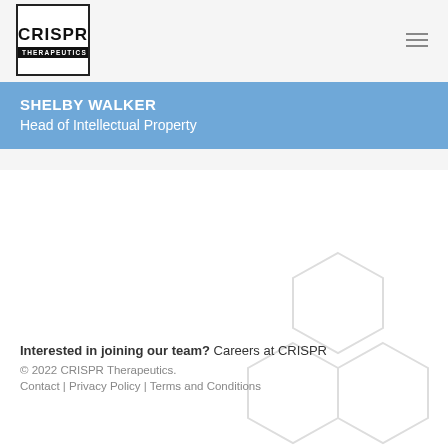[Figure (logo): CRISPR Therapeutics logo — square border with CRISPR text above black bar reading THERAPEUTICS]
SHELBY WALKER
Head of Intellectual Property
Interested in joining our team? Careers at CRISPR
© 2022 CRISPR Therapeutics.
Contact | Privacy Policy | Terms and Conditions